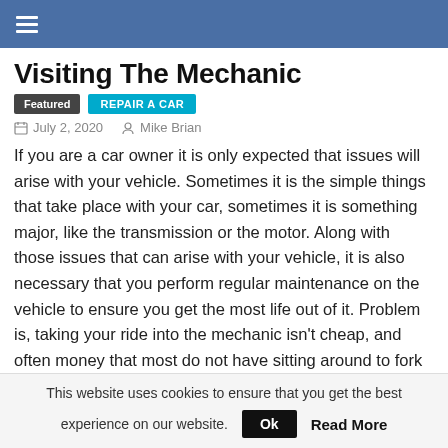≡
Visiting The Mechanic
Featured   REPAIR A CAR
July 2, 2020   Mike Brian
If you are a car owner it is only expected that issues will arise with your vehicle. Sometimes it is the simple things that take place with your car, sometimes it is something major, like the transmission or the motor. Along with those issues that can arise with your vehicle, it is also necessary that you perform regular maintenance on the vehicle to ensure you get the most life out of it. Problem is, taking your ride into the mechanic isn't cheap, and often money that most do not have sitting around to fork over.
This website uses cookies to ensure that you get the best experience on our website.   Ok   Read More